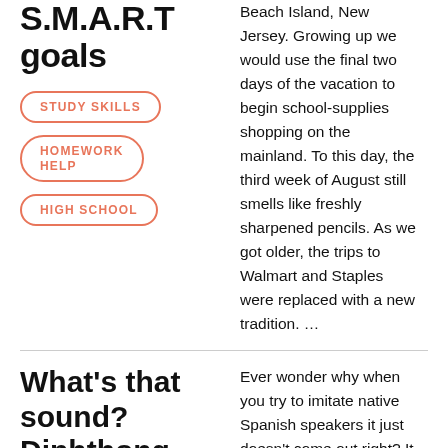S.M.A.R.T goals
STUDY SKILLS
HOMEWORK HELP
HIGH SCHOOL
Beach Island, New Jersey. Growing up we would use the final two days of the vacation to begin school-supplies shopping on the mainland. To this day, the third week of August still smells like freshly sharpened pencils. As we got older, the trips to Walmart and Staples were replaced with a new tradition. …
What's that sound? Diphthong (diptongo),
Ever wonder why when you try to imitate native Spanish speakers it just doesn't come out right? It might have something to do with syllables!